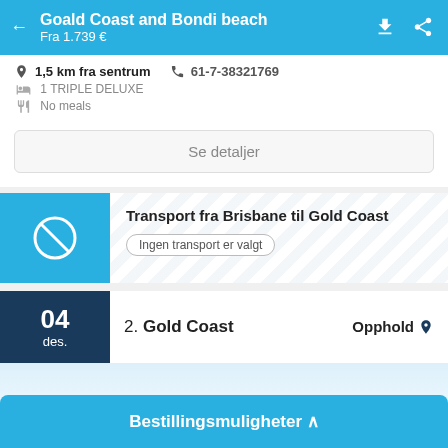Goald Coast and Bondi beach
Fra 1.739 €
1,5 km fra sentrum  61-7-38321769
1 TRIPLE DELUXE
No meals
Se detaljer
Transport fra Brisbane til Gold Coast
Ingen transport er valgt
2. Gold Coast  Opphold
04 des.
Bestillingsmuligheter